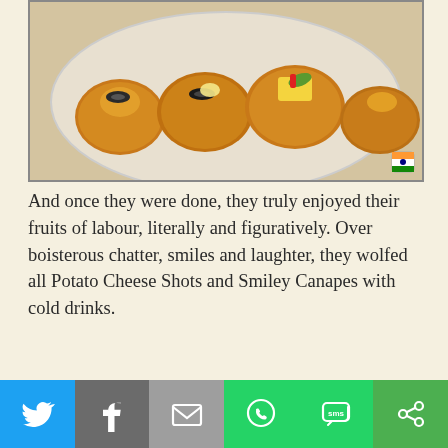[Figure (photo): Fried potato cheese shots topped with olives, cheese, and vegetables on a white plate]
And once they were done, they truly enjoyed their fruits of labour, literally and figuratively. Over boisterous chatter, smiles and laughter, they wolfed all Potato Cheese Shots and Smiley Canapes with cold drinks.
[Figure (photo): Smiley canapes arranged on a plate with a smiley face made from orange cheese, garnished with olives, cream, and vegetables, with dipping sauces in background]
[Figure (infographic): Social sharing bar with Twitter, Facebook, Email, WhatsApp, SMS, and More options]